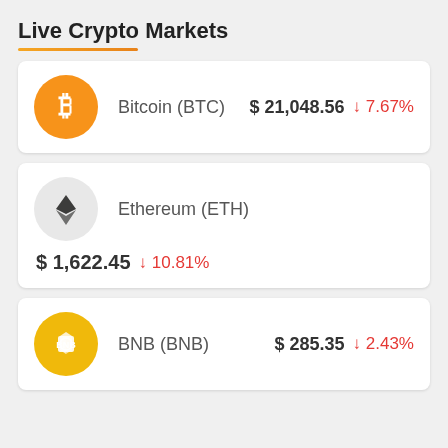Live Crypto Markets
Bitcoin (BTC)  $ 21,048.56  ↓7.67%
Ethereum (ETH)  $ 1,622.45  ↓10.81%
BNB (BNB)  $ 285.35  ↓2.43%